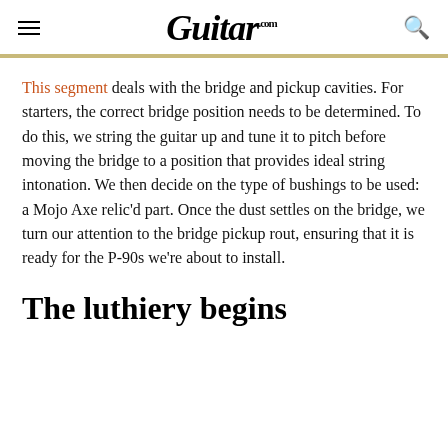Guitar.com
This segment deals with the bridge and pickup cavities. For starters, the correct bridge position needs to be determined. To do this, we string the guitar up and tune it to pitch before moving the bridge to a position that provides ideal string intonation. We then decide on the type of bushings to be used: a Mojo Axe relic'd part. Once the dust settles on the bridge, we turn our attention to the bridge pickup rout, ensuring that it is ready for the P-90s we're about to install.
The luthiery begins